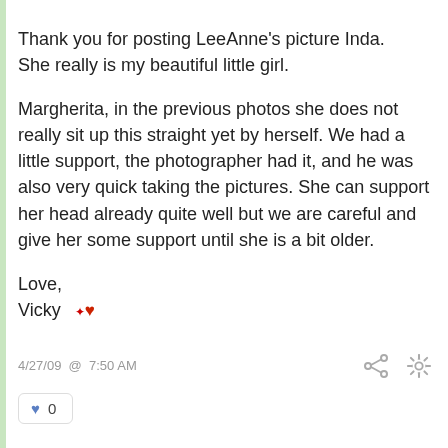Thank you for posting LeeAnne's picture Inda. She really is my beautiful little girl.

Margherita, in the previous photos she does not really sit up this straight yet by herself. We had a little support, the photographer had it, and he was also very quick taking the pictures. She can support her head already quite well but we are careful and give her some support until she is a bit older.

Love,
Vicky ❤
4/27/09 @ 7:50 AM
♥ 0